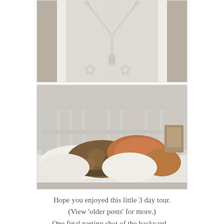[Figure (photo): White ornate wardrobe or door panel with decorative rope or cord tied in a Y-shape at the top, with tassels and embossed floral motifs on the white surface.]
[Figure (photo): A bed with a white metal headboard, dressed with white sheets and multiple decorative pillows including an orange velvet pillow, a brown floral pillow, and other cushions.]
Hope you enjoyed this little 3 day tour. (View 'older posts' for more.) One final parting shot of the backyard...